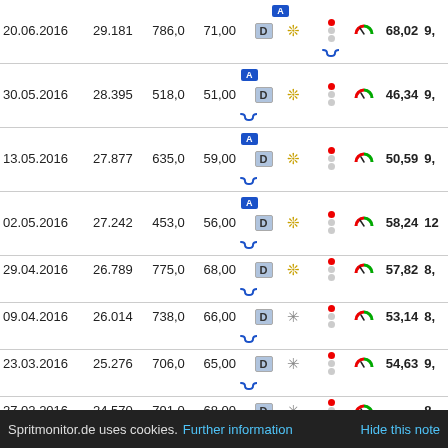| Date | Odometer | km | Liters | D | Conditions | Icons | Gauge | Value | Extra |
| --- | --- | --- | --- | --- | --- | --- | --- | --- | --- |
| 20.06.2016 | 29.181 | 786,0 | 71,00 | D | ❄️ yellow | 🚦🛣️ | ⏱ | 68,02 | 9, |
| 30.05.2016 | 28.395 | 518,0 | 51,00 | D | ❄️ yellow | 🚦🛣️ | ⏱ | 46,34 | 9, |
| 13.05.2016 | 27.877 | 635,0 | 59,00 | D | ❄️ yellow | 🚦🛣️ | ⏱ | 50,59 | 9, |
| 02.05.2016 | 27.242 | 453,0 | 56,00 | D | ❄️ yellow | 🚦🛣️ | ⏱ | 58,24 | 12 |
| 29.04.2016 | 26.789 | 775,0 | 68,00 | D | ❄️ yellow | 🚦🛣️ | ⏱ | 57,82 | 8, |
| 09.04.2016 | 26.014 | 738,0 | 66,00 | D | ❄️ gray | 🚦🛣️ | ⏱ | 53,14 | 8, |
| 23.03.2016 | 25.276 | 706,0 | 65,00 | D | ❄️ gray | 🚦🛣️ | ⏱ | 54,63 | 9, |
| 27.02.2016 | 24.570 | 791,0 | 68,00 | D | ❄️ gray | 🚦🛣️ | ⏱ |  | 8, |
Spritmonitor.de uses cookies. Further information   Hide this note